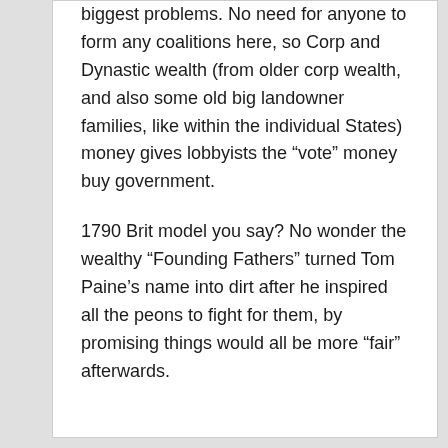biggest problems. No need for anyone to form any coalitions here, so Corp and Dynastic wealth (from older corp wealth, and also some old big landowner families, like within the individual States) money gives lobbyists the “vote” money buy government.
1790 Brit model you say? No wonder the wealthy “Founding Fathers” turned Tom Paine’s name into dirt after he inspired all the peons to fight for them, by promising things would all be more “fair” afterwards.